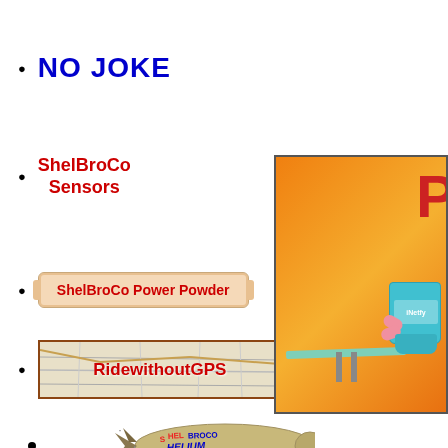NO JOKE
ShelBroCo Sensors
ShelBroCo Power Powder
RidewithoutGPS
[Figure (illustration): Blimp with text SHELBROCO HELIUM]
Helium
[Figure (photo): Orange background advertisement image with a cup/mug on a diving board, partially visible letter on right side]